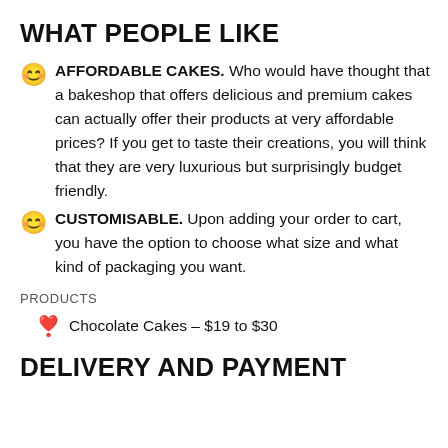WHAT PEOPLE LIKE
AFFORDABLE CAKES. Who would have thought that a bakeshop that offers delicious and premium cakes can actually offer their products at very affordable prices? If you get to taste their creations, you will think that they are very luxurious but surprisingly budget friendly.
CUSTOMISABLE. Upon adding your order to cart, you have the option to choose what size and what kind of packaging you want.
PRODUCTS
Chocolate Cakes – $19 to $30
DELIVERY AND PAYMENT